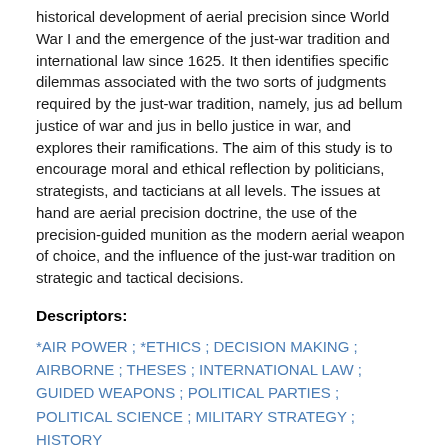historical development of aerial precision since World War I and the emergence of the just-war tradition and international law since 1625. It then identifies specific dilemmas associated with the two sorts of judgments required by the just-war tradition, namely, jus ad bellum justice of war and jus in bello justice in war, and explores their ramifications. The aim of this study is to encourage moral and ethical reflection by politicians, strategists, and tacticians at all levels. The issues at hand are aerial precision doctrine, the use of the precision-guided munition as the modern aerial weapon of choice, and the influence of the just-war tradition on strategic and tactical decisions.
Descriptors:
*AIR POWER ; *ETHICS ; DECISION MAKING ; AIRBORNE ; THESES ; INTERNATIONAL LAW ; GUIDED WEAPONS ; POLITICAL PARTIES ; POLITICAL SCIENCE ; MILITARY STRATEGY ; HISTORY
Subject Categories: